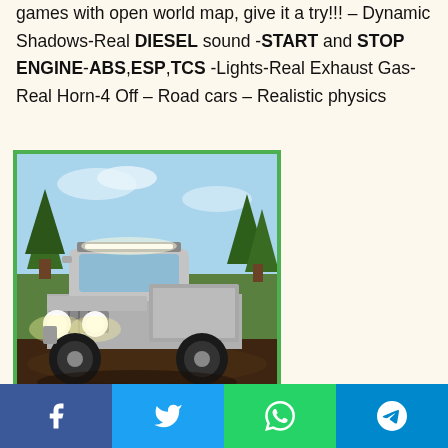games with open world map, give it a try!!! – Dynamic Shadows-Real DIESEL sound -START and STOP ENGINE-ABS,ESP,TCS -Lights-Real Exhaust Gas-Real Horn-4 Off – Road cars – Realistic physics
[Figure (photo): Screenshot of an off-road 4x4 truck with roof lights and headlights on, in a game environment with trees and dirt ground.]
Similarity Rate : 28 % –
Similar Apps
Facebook | Twitter | WhatsApp | Telegram